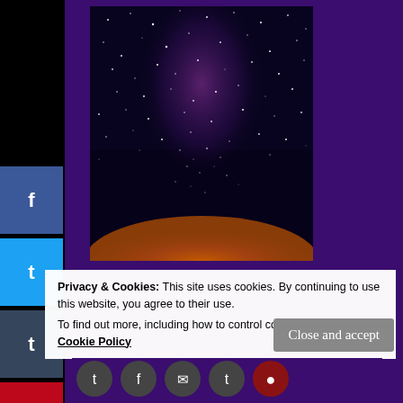[Figure (photo): Night sky / Milky Way photograph showing stars against dark blue sky with reddish-orange glow at horizon, purple nebula visible in center]
Privacy & Cookies: This site uses cookies. By continuing to use this website, you agree to their use.
To find out more, including how to control cookies, see here: Cookie Policy
[Figure (infographic): Row of circular social media share buttons: Twitter, Facebook, email/messenger, Tumblr, Pinterest]